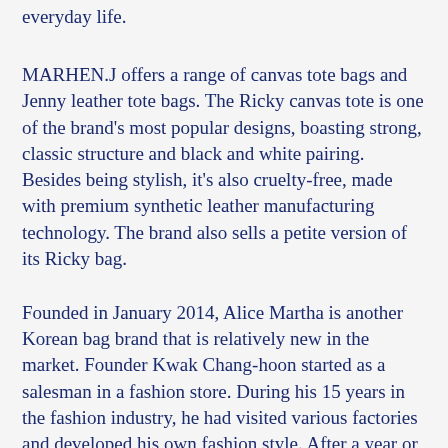everyday life.
MARHEN.J offers a range of canvas tote bags and Jenny leather tote bags. The Ricky canvas tote is one of the brand's most popular designs, boasting strong, classic structure and black and white pairing. Besides being stylish, it's also cruelty-free, made with premium synthetic leather manufacturing technology. The brand also sells a petite version of its Ricky bag.
Founded in January 2014, Alice Martha is another Korean bag brand that is relatively new in the market. Founder Kwak Chang-hoon started as a salesman in a fashion store. During his 15 years in the fashion industry, he had visited various factories and developed his own fashion style. After a year or two in the business, Kwak Chang-hoon decided to open his